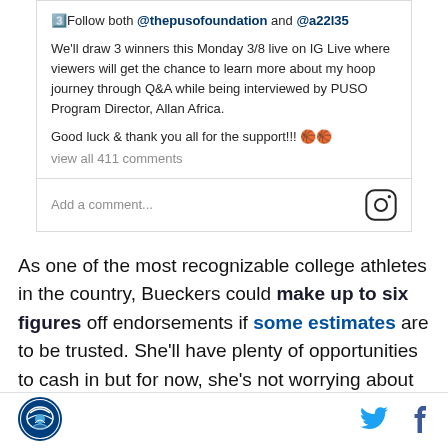3️⃣Follow both @thepusofoundation and @a22l35
We'll draw 3 winners this Monday 3/8 live on IG Live where viewers will get the chance to learn more about my hoop journey through Q&A while being interviewed by PUSO Program Director, Allan Africa.
Good luck & thank you all for the support!!! 🏀🏀
view all 411 comments
Add a comment...
As one of the most recognizable college athletes in the country, Bueckers could make up to six figures off endorsements if some estimates are to be trusted. She'll have plenty of opportunities to cash in but for now, she's not worrying about it.
[Figure (logo): Husky sports logo circular badge]
[Figure (logo): Twitter bird icon]
[Figure (logo): Facebook f icon]